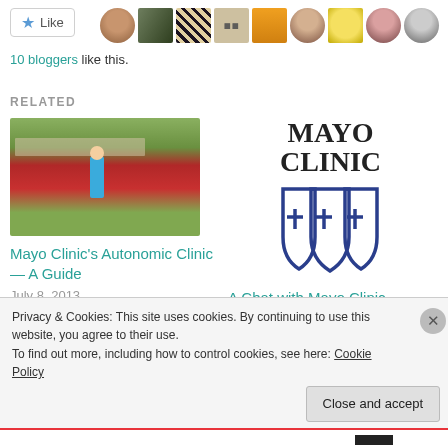[Figure (screenshot): Like button with star icon, followed by a row of blogger avatar thumbnails]
10 bloggers like this.
RELATED
[Figure (photo): Mayo Clinic entrance sign with person jogging in front of red flower garden]
Mayo Clinic's Autonomic Clinic — A Guide
July 8, 2013
In "Learn Something!"
[Figure (logo): Mayo Clinic logo with text MAYO CLINIC and shield emblem]
A Chat with Mayo Clinic Doctor
December 12, 2012
Privacy & Cookies: This site uses cookies. By continuing to use this website, you agree to their use.
To find out more, including how to control cookies, see here: Cookie Policy